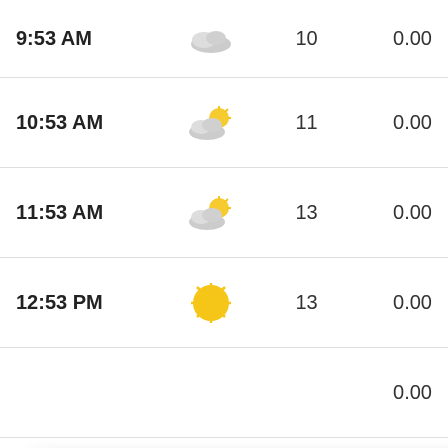| Time | Condition | Temp | Precip |
| --- | --- | --- | --- |
| 9:53 AM | [overcast icon] | 10 | 0.00 |
| 10:53 AM | [partly cloudy icon] | 11 | 0.00 |
| 11:53 AM | [partly cloudy icon] | 13 | 0.00 |
| 12:53 PM | [sunny icon] | 13 | 0.00 |
|  |  |  | 0.00 |
|  |  |  | 0.00 |
|  |  |  | 0.00 |
|  |  |  | 0.00 |
| 5:53 PM | [icon] | 19 | 0.00 |
Our Site Uses Cookies
We use cookies to improve your experience, which may also include cookies from third parties. By using our website, you agree to the use of cookies. Learn more in our privacy policy.
ACCEPT & CLOSE